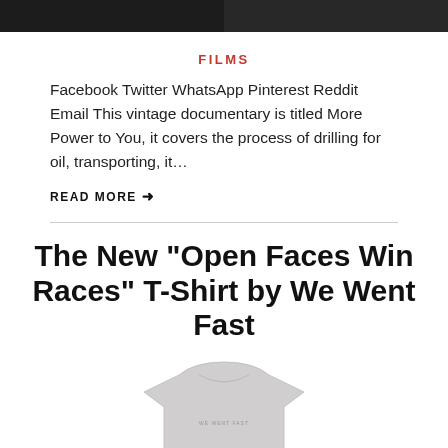[Figure (photo): Two dark black-and-white photos side by side at the top of the page]
FILMS
Facebook Twitter WhatsApp Pinterest Reddit Email This vintage documentary is titled More Power to You, it covers the process of drilling for oil, transporting, it…
READ MORE ➜
The New “Open Faces Win Races” T-Shirt by We Went Fast
[Figure (photo): Light grey t-shirt product photo, partially visible at bottom of page]